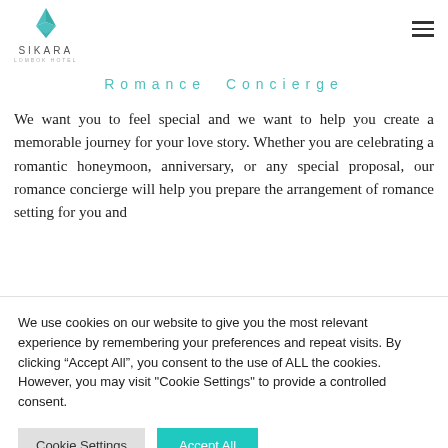[Figure (logo): Sikara Lombok Hotel logo with teal leaf/triangle icon above the text SIKARA and subtitle LOMBOK HOTEL]
Romance Concierge
We want you to feel special and we want to help you create a memorable journey for your love story. Whether you are celebrating a romantic honeymoon, anniversary, or any special proposal, our romance concierge will help you prepare the arrangement of romance setting for you and
We use cookies on our website to give you the most relevant experience by remembering your preferences and repeat visits. By clicking “Accept All”, you consent to the use of ALL the cookies. However, you may visit "Cookie Settings" to provide a controlled consent.